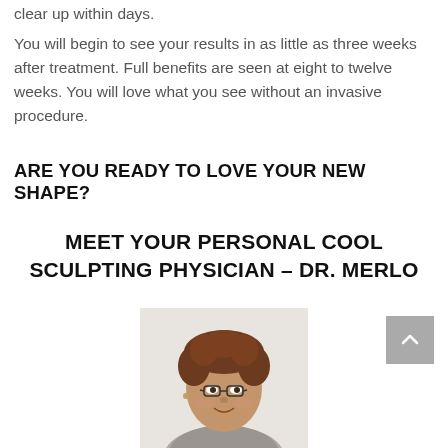clear up within days.
You will begin to see your results in as little as three weeks after treatment. Full benefits are seen at eight to twelve weeks. You will love what you see without an invasive procedure.
ARE YOU READY TO LOVE YOUR NEW SHAPE?
MEET YOUR PERSONAL COOL SCULPTING PHYSICIAN – DR. MERLO
[Figure (photo): Portrait photo of Dr. Merlo, a woman with curly brown hair and glasses, smiling, wearing a gray blazer, shown from shoulders up]